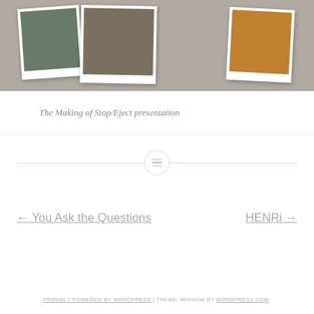[Figure (photo): A photo collage showing three polaroid-style photographs on a textured gray/beige background. Left photo shows people with a bicycle/cart on a street. Middle photo shows people standing at a doorway. Right photo shows people in yellow/colorful clothing embracing. A watermark reads 'neilaseman.com'.]
The Making of Stop/Eject presentation
← You Ask the Questions
HENRi →
PROUDLY POWERED BY WORDPRESS | THEME: MINNOW BY WORDPRESS.COM.